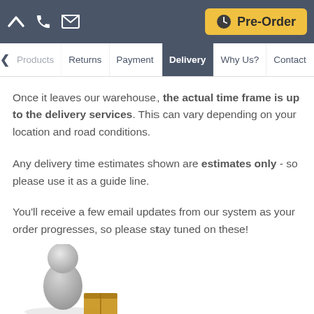Pre-Order
Returns | Payment | Delivery | Why Us? | Contact
Once it leaves our warehouse, the actual time frame is up to the delivery services. This can vary depending on your location and road conditions.
Any delivery time estimates shown are estimates only - so please use it as a guide line.
You'll receive a few email updates from our system as your order progresses, so please stay tuned on these!
[Figure (illustration): A 3D figure illustration of a person (white/grey humanoid figure) with a brown box, partially visible at the bottom-left of the page.]